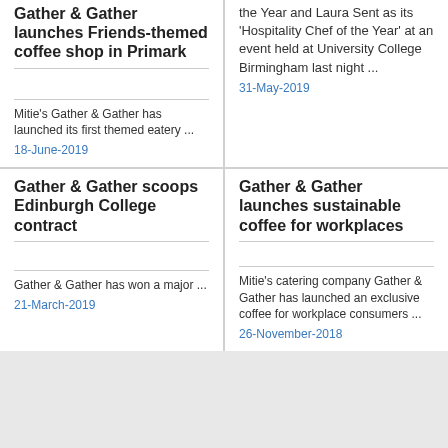Gather & Gather launches Friends-themed coffee shop in Primark
Mitie's Gather & Gather has launched its first themed eatery ...
18-June-2019
the Year and Laura Sent as its 'Hospitality Chef of the Year' at an event held at University College Birmingham last night ...
31-May-2019
Gather & Gather launches sustainable coffee for workplaces
Gather & Gather scoops Edinburgh College contract
Gather & Gather has won a major ...
21-March-2019
Mitie's catering company Gather & Gather has launched an exclusive coffee for workplace consumers ...
26-November-2018